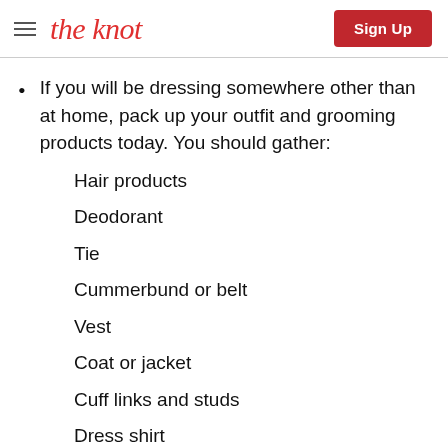the knot | Sign Up
If you will be dressing somewhere other than at home, pack up your outfit and grooming products today. You should gather:
Hair products
Deodorant
Tie
Cummerbund or belt
Vest
Coat or jacket
Cuff links and studs
Dress shirt
Watch